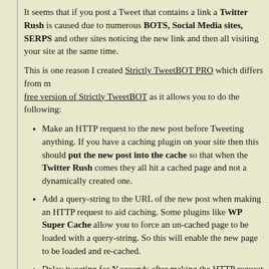It seems that if you post a Tweet that contains a link a Twitter Rush is caused due to numerous BOTS, Social Media sites, SERPS and other sites noticing the new link and then all visiting your site at the same time.
This is one reason I created Strictly TweetBOT PRO which differs from my free version of Strictly TweetBOT as it allows you to do the following:
Make an HTTP request to the new post before Tweeting anything. If you have a caching plugin on your site then this should put the new post into the cache so that when the Twitter Rush comes they all hit a cached page and not a dynamically created one.
Add a query-string to the URL of the new post when making an HTTP request to aid caching. Some plugins like WP Super Cache allow you to force an un-cached page to be loaded with a query-string. So this will enable the new page to be loaded and re-cached.
Delay tweeting for N seconds after making the HTTP request to cache your post. This will help you ensure that the post is in the cache before the Twitter Rush.
Add a delay between each Tweet that is sent out. If you are tweeting to multiple accounts you will cause multiple Twitter Rushes. Therefore staggering the hits aids performance.